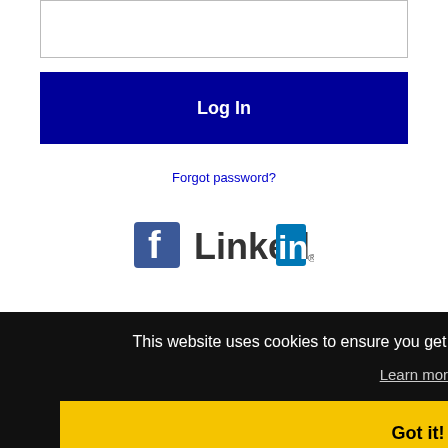[Figure (screenshot): Password input field box at top of login form]
[Figure (screenshot): Dark navy blue Log In button]
Forgot password?
[Figure (logo): Facebook logo and LinkedIn logo side by side for social login]
CA on
This website uses cookies to ensure you get the best experience on our website.
Learn more
Got it!